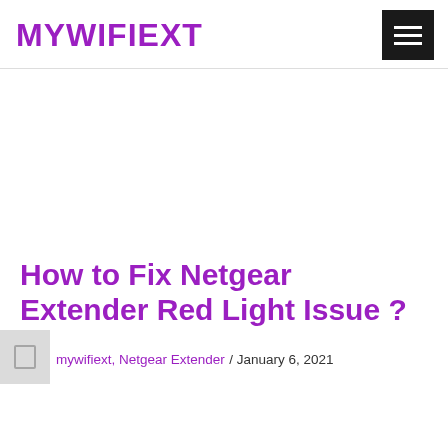MYWIFIEXT
How to Fix Netgear Extender Red Light Issue ?
mywifiext, Netgear Extender / January 6, 2021